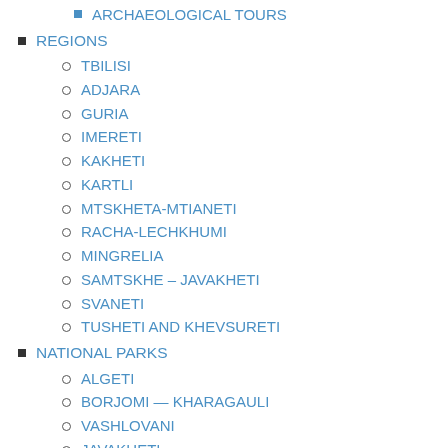ARCHAEOLOGICAL TOURS
REGIONS
TBILISI
ADJARA
GURIA
IMERETI
KAKHETI
KARTLI
MTSKHETA-MTIANETI
RACHA-LECHKHUMI
MINGRELIA
SAMTSKHE – JAVAKHETI
SVANETI
TUSHETI AND KHEVSURETI
NATIONAL PARKS
ALGETI
BORJOMI — KHARAGAULI
VASHLOVANI
JAVAKHETI
KINTRISHI
KOLKHETI
LAGODEKHI
MACHAKHELA